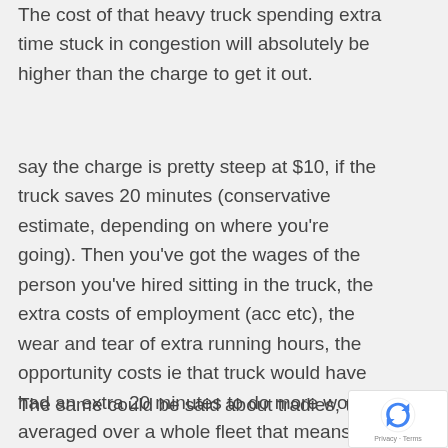The cost of that heavy truck spending extra time stuck in congestion will absolutely be higher than the charge to get it out.
say the charge is pretty steep at $10, if the truck saves 20 minutes (conservative estimate, depending on where you're going). Then you've got the wages of the person you've hired sitting in the truck, the extra costs of employment (acc etc), the wear and tear of extra running hours, the opportunity costs ie that truck would have had an extra 20 minutes to do more work, averaged over a whole fleet that means you could do more work, or have to own less trucks.
The same could be said about tradies, their